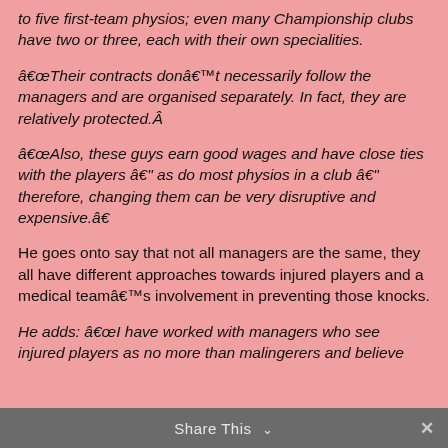to five first-team physios; even many Championship clubs have two or three, each with their own specialities.
â€œTheir contracts donâ€™t necessarily follow the managers and are organised separately. In fact, they are relatively protected.Â
â€œAlso, these guys earn good wages and have close ties with the players â€" as do most physios in a club â€" therefore, changing them can be very disruptive and expensive.â€
He goes onto say that not all managers are the same, they all have different approaches towards injured players and a medical teamâ€™s involvement in preventing those knocks.
He adds: â€œI have worked with managers who see injured players as no more than malingerers and believe
Share This